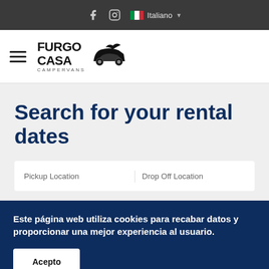Facebook  Instagram  🇮🇹 Italiano ▾
[Figure (logo): FurgoCasa Campervans logo with van silhouette]
Search for your rental dates
Pickup Location   Drop Off Location
Este página web utiliza cookies para recabar datos y proporcionar una mejor experiencia al usuario.
Acepto